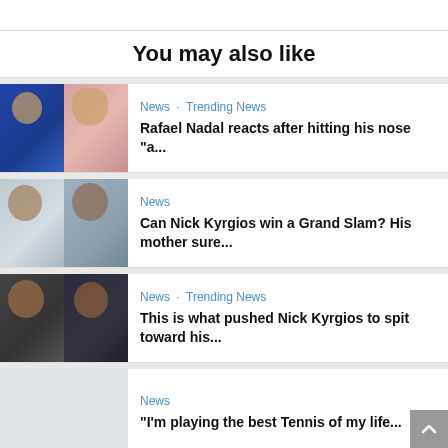You may also like
[Figure (photo): Two-panel photo of Rafael Nadal on tennis court]
News · Trending News
Rafael Nadal reacts after hitting his nose "a...
[Figure (photo): Two-panel photo of Nick Kyrgios and his mother]
News
Can Nick Kyrgios win a Grand Slam? His mother sure...
[Figure (photo): Two-panel photo of Nick Kyrgios with mouth open]
News · Trending News
This is what pushed Nick Kyrgios to spit toward his...
News
"I'm playing the best Tennis of my life...